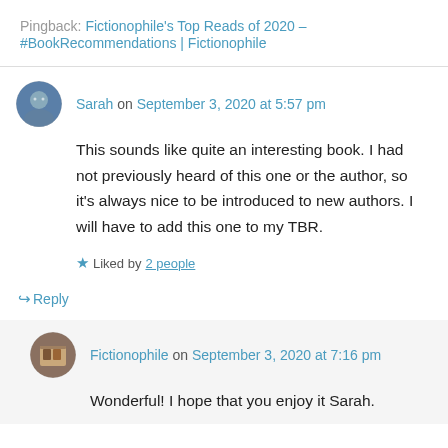Pingback: Fictionophile's Top Reads of 2020 – #BookRecommendations | Fictionophile
Sarah on September 3, 2020 at 5:57 pm
This sounds like quite an interesting book. I had not previously heard of this one or the author, so it's always nice to be introduced to new authors. I will have to add this one to my TBR.
Liked by 2 people
↳ Reply
Fictionophile on September 3, 2020 at 7:16 pm
Wonderful! I hope that you enjoy it Sarah.